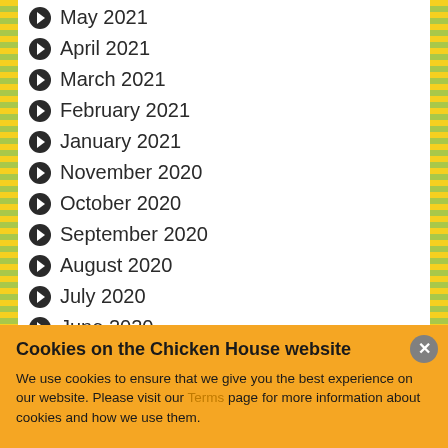May 2021
April 2021
March 2021
February 2021
January 2021
November 2020
October 2020
September 2020
August 2020
July 2020
June 2020
April 2020
March 2020
February 2020
December 2019
Cookies on the Chicken House website
We use cookies to ensure that we give you the best experience on our website. Please visit our Terms page for more information about cookies and how we use them.